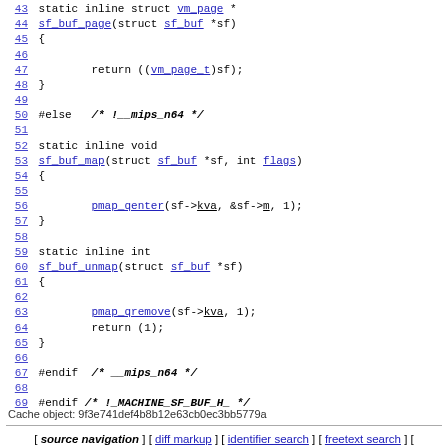Code listing lines 43-69 of sf_buf.h with C source code
Cache object: 9f3e741def4b8b12e63cb0ec3bb5779a
[ source navigation ] [ diff markup ] [ identifier search ] [ freetext search ] [